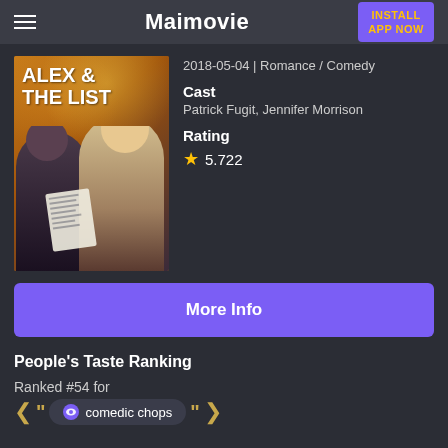Maimovie
[Figure (photo): Movie poster for Alex & The List showing two people (man and woman) with the movie title in large white text on an orange/dark background, woman holding a handwritten list]
2018-05-04 | Romance / Comedy
Cast
Patrick Fugit, Jennifer Morrison
Rating
★ 5.722
More Info
People's Taste Ranking
Ranked #54 for
comedic chops